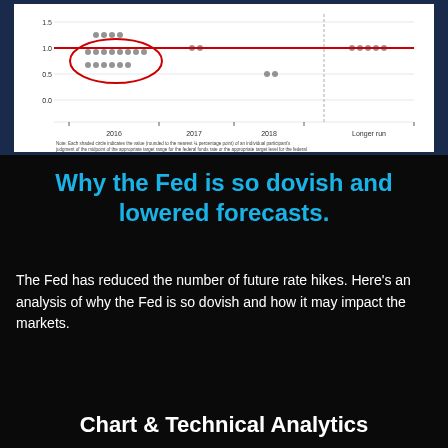[Figure (continuous-plot): Federal Reserve dot plot chart showing individual FOMC participants' projections for the appropriate target federal funds rate for 2016, 2017, 2018, and Longer run. A red oval is drawn around a cluster of dots in the lower range, and a horizontal red line is visible. Y-axis values include 1.5, 1.0, 0.5, 0.0. X-axis labels: 2016, 2017, 2018, Longer run.]
Why the Fed is so dovish and lowered forecasts.
The Fed has reduced the number of future rate hikes. Here's an analysis of why the Fed is so dovish and how it may impact the markets.
Chart & Technical Analytics